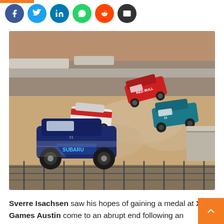[Figure (other): Row of social media share buttons: Facebook (blue), Twitter (light blue), LinkedIn (blue), WhatsApp (green), Reddit (orange-red), Email (dark gray)]
[Figure (photo): Action photo of rally cross cars racing on a dirt track, kicking up dust. A blue Subaru rally car is prominent in the foreground, with Red Bull and teal-colored cars behind it.]
Sverre Isachsen saw his hopes of gaining a medal at X Games Austin come to an abrupt end following an incident with Nelson Piquet Jr. in the quarter final races.